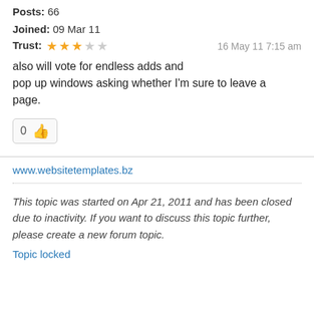Posts: 66
Joined: 09 Mar 11
Trust: ★★★☆☆    16 May 11 7:15 am
also will vote for endless adds and pop up windows asking whether I'm sure to leave a page.
[Figure (other): Like/thumbs-up button showing count 0]
www.websitetemplates.bz
This topic was started on Apr 21, 2011 and has been closed due to inactivity. If you want to discuss this topic further, please create a new forum topic.
Topic locked